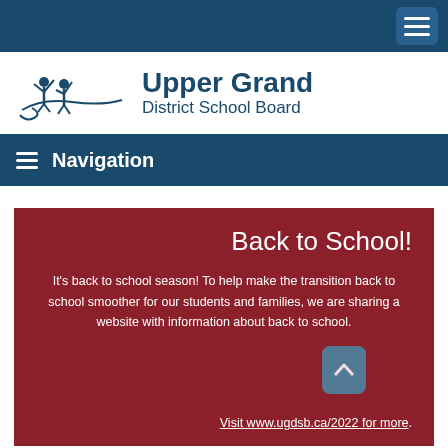Upper Grand District School Board — Navigation header
[Figure (logo): Upper Grand District School Board logo with children silhouette illustration and text]
≡ Navigation
Back to School!
It's back to school season! To help make the transition back to school smoother for our students and families, we are sharing a website with information about back to school.
Visit www.ugdsb.ca/2022 for more.